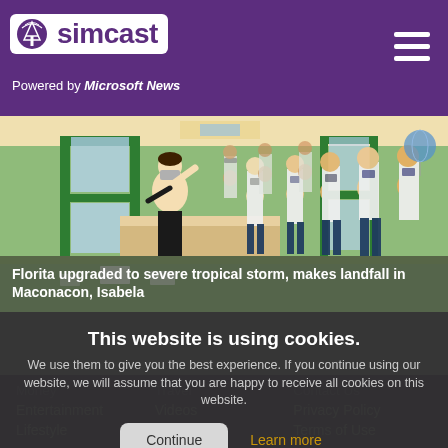simcast — Powered by Microsoft News
[Figure (photo): A classroom scene showing a teacher (woman in white top and black pants, wearing a mask) standing at the front of a flooded classroom, with many students in white uniforms and face masks standing around desks. Colorful decorations are visible on the walls and windows.]
Florita upgraded to severe tropical storm, makes landfall in Maconacon, Isabela
This website is using cookies.
We use them to give you the best experience. If you continue using our website, we will assume that you are happy to receive all cookies on this website.
Continue | Learn more
Money   Travel   Contact Us   Entertainment   Videos   Privacy Policy   Lifestyle   Sports   Terms of Use